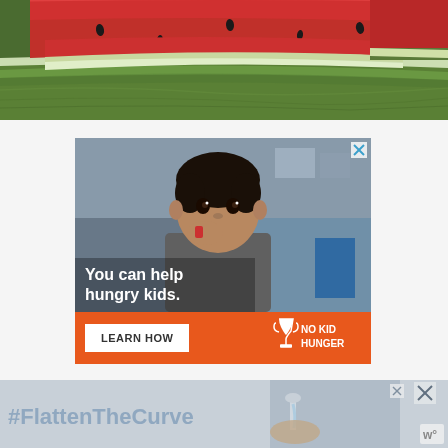[Figure (photo): Close-up photo of sliced watermelon pieces showing red flesh and green rind, stacked and overlapping]
[Figure (photo): Advertisement: A young Asian boy eating food in a classroom setting. Text overlay reads 'You can help hungry kids.' with a 'LEARN HOW' button and 'NO KID HUNGER' logo on an orange bar at the bottom. Has an X close button in the top right corner.]
[Figure (photo): Bottom banner advertisement with '#FlattenTheCurve' text in light blue/gray, a photo of hands washing at a faucet, and close buttons. A 'W' branded badge is visible at bottom right.]